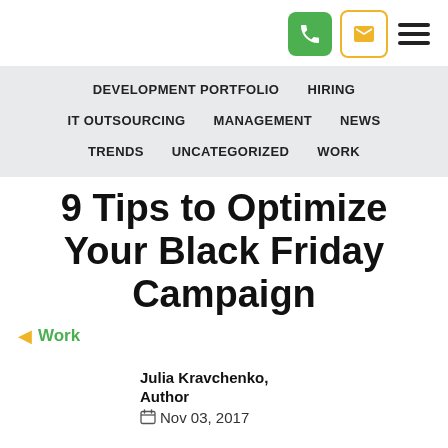[phone button] [email button] [hamburger menu]
DEVELOPMENT PORTFOLIO   HIRING   IT OUTSOURCING   MANAGEMENT   NEWS   TRENDS   UNCATEGORIZED   WORK
9 Tips to Optimize Your Black Friday Campaign
◄ Work
Julia Kravchenko, Author
Nov 03, 2017